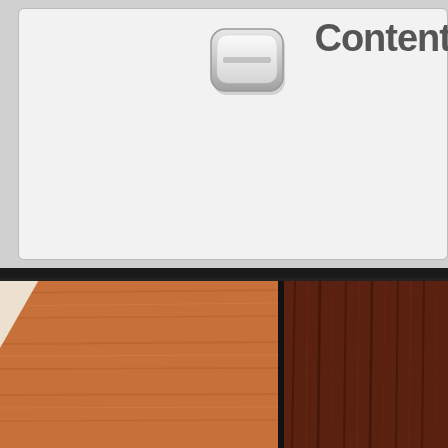[Figure (screenshot): A UI card/panel with a rounded rectangle button icon in the upper center and the text 'Content' partially visible at the top right. The panel has a light gray background with a white/light inner card area.]
[Figure (photo): A photograph showing wooden flooring or paneling — light orange-brown horizontal wood planks on the left portion and darker reddish-brown vertical wood grain on the right portion, with a black dividing strip between them.]